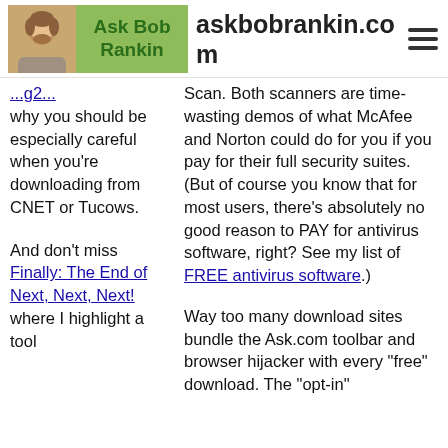askbobrankin.com
why you should be especially careful when you're downloading from CNET or Tucows.
Scan. Both scanners are time-wasting demos of what McAfee and Norton could do for you if you pay for their full security suites. (But of course you know that for most users, there's absolutely no good reason to PAY for antivirus software, right? See my list of FREE antivirus software.)
And don't miss Finally: The End of Next, Next, Next! where I highlight a tool
Way too many download sites bundle the Ask.com toolbar and browser hijacker with every "free" download. The "opt-in"